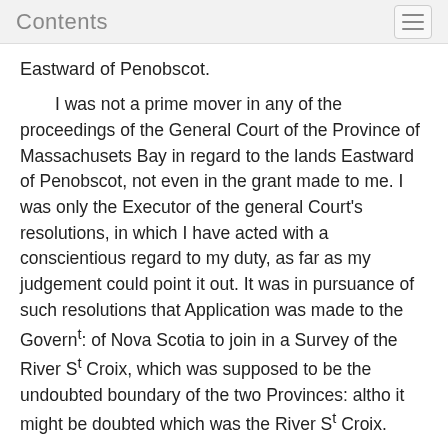Contents
Eastward of Penobscot.
I was not a prime mover in any of the proceedings of the General Court of the Province of Massachusets Bay in regard to the lands Eastward of Penobscot, not even in the grant made to me. I was only the Executor of the general Court's resolutions, in which I have acted with a conscientious regard to my duty, as far as my judgement could point it out. It was in pursuance of such resolutions that Application was made to the Governt: of Nova Scotia to join in a Survey of the River St Croix, which was supposed to be the undoubted boundary of the two Provinces: altho it might be doubted which was the River St Croix.